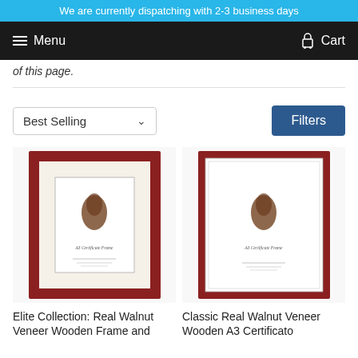We are currently dispatching with 2-3 business days
Menu  Cart
of this page.
[Figure (screenshot): Best Selling dropdown selector and Filters button]
[Figure (photo): Elite Collection Real Walnut Veneer Wooden Frame with mount/mat - A3 Certificate Frame product image]
[Figure (photo): Classic Real Walnut Veneer Wooden A3 Certificate Frame product image]
Elite Collection: Real Walnut Veneer Wooden Frame and
Classic Real Walnut Veneer Wooden A3 Certificate